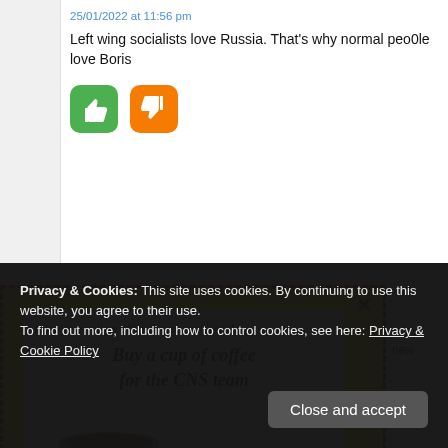25/01/2022 at 11:56 pm
Left wing socialists love Russia. That’s why normal peo0le love Boris
[Figure (illustration): Green thumbs-up button and orange thumbs-down button]
[Figure (infographic): Yellow dashed-border popup with close X button containing a white card with text: Keep journalism alive & reporters awake / Buy a cup of coffee / for the CNS team, and a coffee cup illustration]
oday
new
Privacy & Cookies: This site uses cookies. By continuing to use this website, you agree to their use.
To find out more, including how to control cookies, see here: Privacy & Cookie Policy
Close and accept